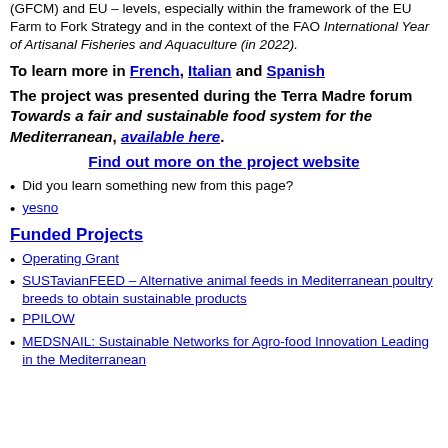(GFCM) and EU – levels, especially within the framework of the EU Farm to Fork Strategy and in the context of the FAO International Year of Artisanal Fisheries and Aquaculture (in 2022).
To learn more in French, Italian and Spanish
The project was presented during the Terra Madre forum Towards a fair and sustainable food system for the Mediterranean, available here.
Find out more on the project website
Did you learn something new from this page?
yesno
Funded Projects
Operating Grant
SUSTavianFEED – Alternative animal feeds in Mediterranean poultry breeds to obtain sustainable products
PPILOW
MEDSNAIL: Sustainable Networks for Agro-food Innovation Leading in the Mediterranean